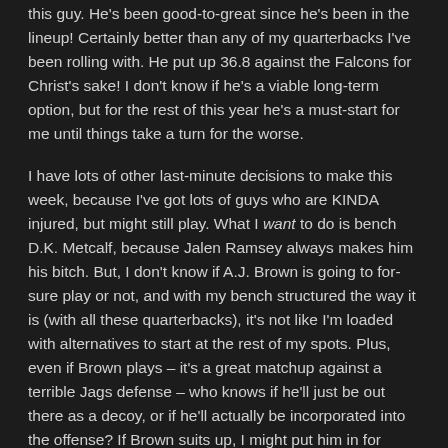this guy. He's been good-to-great since he's been in the lineup! Certainly better than any of my quarterbacks I've been rolling with. He put up 36.8 against the Falcons for Christ's sake! I don't know if he's a viable long-term option, but for the rest of this year he's a must-start for me until things take a turn for the worse.
I have lots of other last-minute decisions to make this week, because I've got lots of guys who are KINDA injured, but might still play. What I want to do is bench D.K. Metcalf, because Jalen Ramsey always makes him his bitch. But, I don't know if A.J. Brown is going to for-sure play or not, and with my bench structured the way it is (with all these quarterbacks), it's not like I'm loaded with alternatives to start at the rest of my spots. Plus, even if Brown plays – it's a great matchup against a terrible Jags defense – who knows if he'll just be out there as a decoy, or if he'll actually be incorporated into the offense? If Brown suits up, I might put him in for Diontae Johnson (who has a tough matchup against the Broncos), but like I said, that'll be a last-minute decision (that I'm sure I'll get